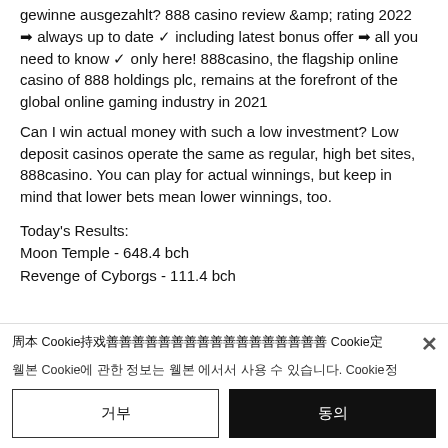gewinne ausgezahlt? 888 casino review &amp; rating 2022 ➡ always up to date ✓ including latest bonus offer ➡ all you need to know ✓ only here! 888casino, the flagship online casino of 888 holdings plc, remains at the forefront of the global online gaming industry in 2021
Can I win actual money with such a low investment? Low deposit casinos operate the same as regular, high bet sites, 888casino. You can play for actual winnings, but keep in mind that lower bets mean lower winnings, too.
Today's Results:
Moon Temple - 648.4 bch
Revenge of Cyborgs - 111.4 bch
Cookie 사용에 대한 동의 Cookie 정책
거부
동의